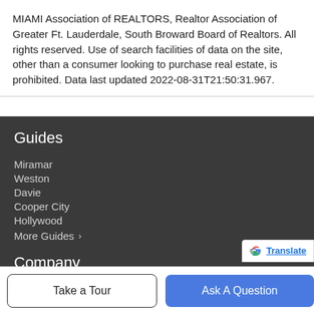MIAMI Association of REALTORS, Realtor Association of Greater Ft. Lauderdale, South Broward Board of Realtors. All rights reserved. Use of search facilities of data on the site, other than a consumer looking to purchase real estate, is prohibited. Data last updated 2022-08-31T21:50:31.967.
Guides
Miramar
Weston
Davie
Cooper City
Hollywood
More Guides >
Company
Take a Tour
Ask A Question
Translate